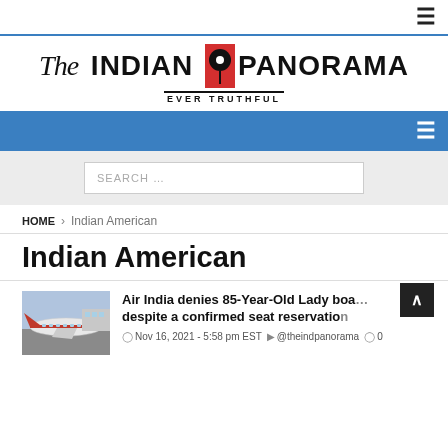The Indian Panorama — EVER TRUTHFUL
Indian American
HOME › Indian American
Air India denies 85-Year-Old Lady boarding despite a confirmed seat reservation
Nov 16, 2021 - 5:58 pm EST  @theindpanorama  0